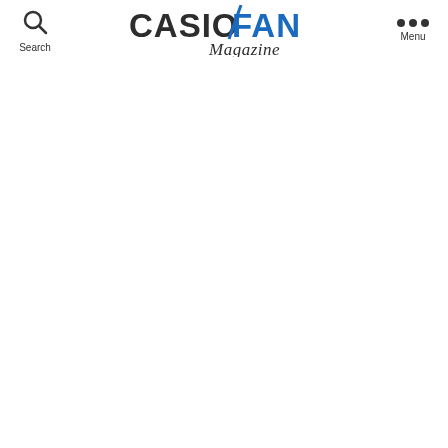CASIOFAN Magazine — Search | Menu
[Figure (logo): CASIOFAN Magazine logo: CASIO in dark/black bold letters, FAN in blue bold letters with a diagonal slash, Magazine in italic script below]